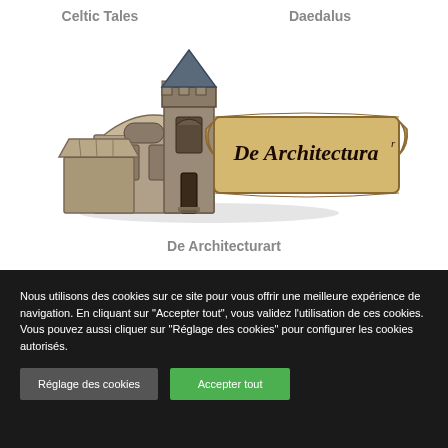Celtic Tales
Daedalus
[Figure (illustration): Medieval castle building with a fantasy banner reading 'De Architectura']
De Architecturart
Nous utilisons des cookies sur ce site pour vous offrir une meilleure expérience de navigation. En cliquant sur "Accepter tout", vous validez l'utilisation de ces cookies. Vous pouvez aussi cliquer sur "Réglage des cookies" pour configurer les cookies autorisés.
Réglage des cookies
Accepter tout